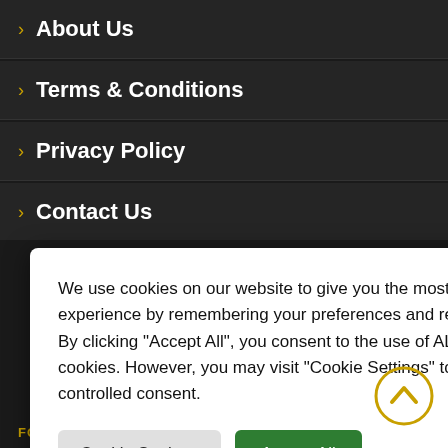› About Us
› Terms & Conditions
› Privacy Policy
› Contact Us
s with thousands of UK, Austria, countries. We have mending sites we s so we have the your behalf bination
We use cookies on our website to give you the most relevant experience by remembering your preferences and repeat visits. By clicking "Accept All", you consent to the use of ALL the cookies. However, you may visit "Cookie Settings" to provide a controlled consent.
FOLLOW US